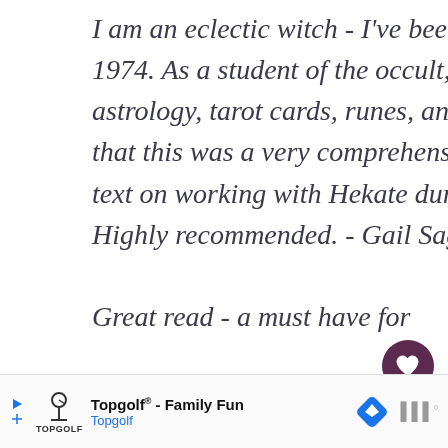I am an eclectic witch - I've been practicing since 1974. As a student of the occult, working with astrology, tarot cards, runes, and numerology, I found that this was a very comprehensive and well written text on working with Hekate during the full moon. Highly recommended. - Gail Sager

Great read - a must have for
[Figure (infographic): Heart like button (dark purple circle with white heart icon), like count '2', and share button (light grey circle with share icon)]
[Figure (infographic): What's Next arrow label with thumbnail image and text 'How To Use Pagan Praye...']
[Figure (infographic): Advertisement bar: Topgolf - Family Fun, Topgolf, with navigation icon and speaker icon]